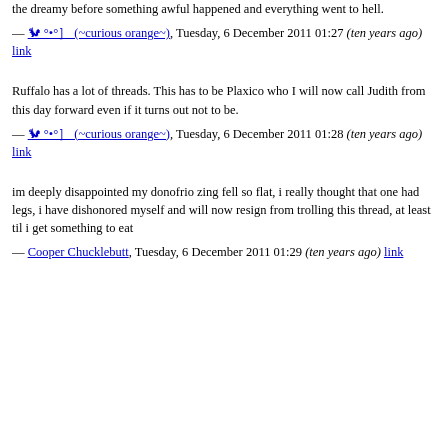the dreamy before something awful happened and everything went to hell.
— 🐿 °•°］ (~curious orange~), Tuesday, 6 December 2011 01:27 (ten years ago) link
Ruffalo has a lot of threads. This has to be Plaxico who I will now call Judith from this day forward even if it turns out not to be.
— 🐿 °•°］ (~curious orange~), Tuesday, 6 December 2011 01:28 (ten years ago) link
im deeply disappointed my donofrio zing fell so flat, i really thought that one had legs, i have dishonored myself and will now resign from trolling this thread, at least til i get something to eat
— Cooper Chucklebutt, Tuesday, 6 December 2011 01:29 (ten years ago) link